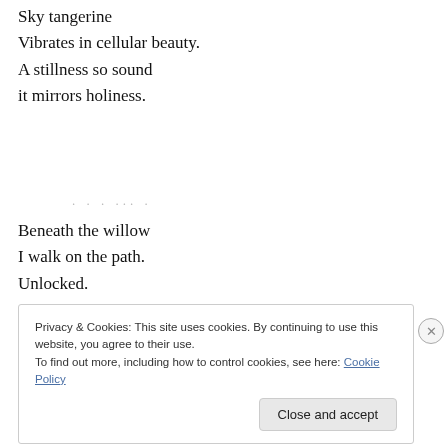Sky tangerine
Vibrates in cellular beauty.
A stillness so sound
it mirrors holiness.
Beneath the willow
I walk on the path.
Unlocked.
Privacy & Cookies: This site uses cookies. By continuing to use this website, you agree to their use.
To find out more, including how to control cookies, see here: Cookie Policy